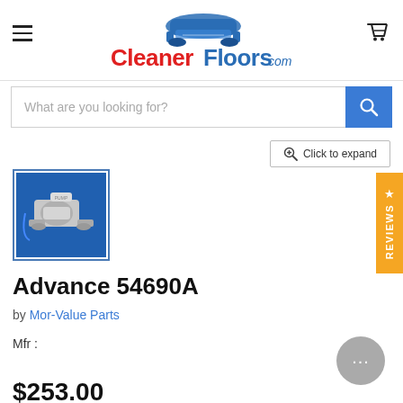[Figure (logo): CleanerFloors.com logo with blue floor machine illustration above red and blue text]
[Figure (screenshot): Search bar with placeholder text 'What are you looking for?' and blue search button]
Click to expand
[Figure (photo): Product thumbnail photo of a water pump (Advance 54690A) against blue background]
Advance 54690A
by Mor-Value Parts
Mfr :
$253.00